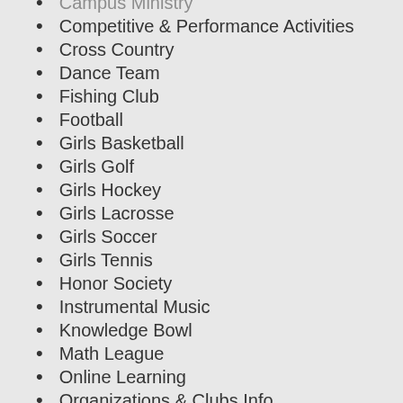Campus Ministry
Competitive & Performance Activities
Cross Country
Dance Team
Fishing Club
Football
Girls Basketball
Girls Golf
Girls Hockey
Girls Lacrosse
Girls Soccer
Girls Tennis
Honor Society
Instrumental Music
Knowledge Bowl
Math League
Online Learning
Organizations & Clubs Info
Robotics
Service
Theater Classes